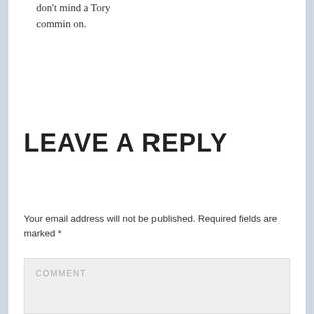don't mind a Tory commin on.
REPLY
LEAVE A REPLY
Your email address will not be published. Required fields are marked *
COMMENT